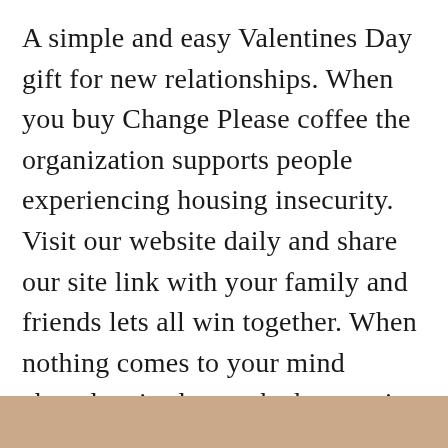A simple and easy Valentines Day gift for new relationships. When you buy Change Please coffee the organization supports people experiencing housing insecurity. Visit our website daily and share our site link with your family and friends lets all win together. When nothing comes to your mind chocolate is always the best option for gifting someone. Valentines Day 2021 will be celebrated on Sunday February 14 2021.
[Figure (other): Tan/beige colored horizontal bar at the bottom of the page]